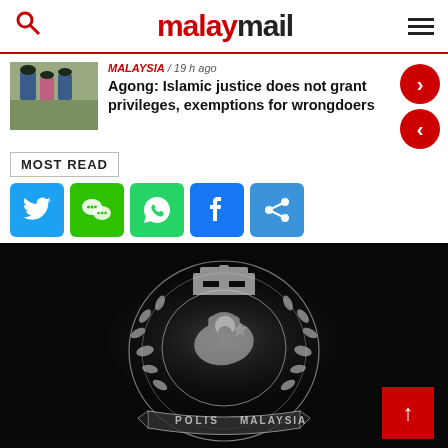malaymail
MALAYSIA / 19 h ago
Agong: Islamic justice does not grant privileges, exemptions for wrongdoers
MOST READ
[Figure (screenshot): Malaysia Police (POLIS) badge/crest on dark background, showing a crystal-like emblem with crown, tiger, crescent and stars, surrounded by laurel wreath with 'POLIS MALAYSIA' text on ribbon]
[Figure (infographic): Social media sharing buttons: Twitter (blue), WeChat (green), WhatsApp (green), Facebook (blue), Share (blue)]